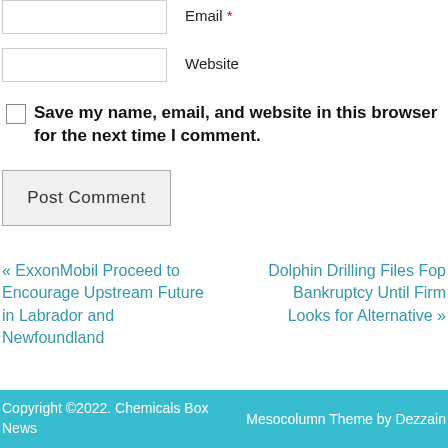Email *
Website
Save my name, email, and website in this browser for the next time I comment.
Post Comment
« ExxonMobil Proceed to Encourage Upstream Future in Labrador and Newfoundland
Dolphin Drilling Files Fop Bankruptcy Until Firm Looks for Alternative »
Copyright ©2022. Chemicals Box News    Mesocolumn Theme by Dezzain